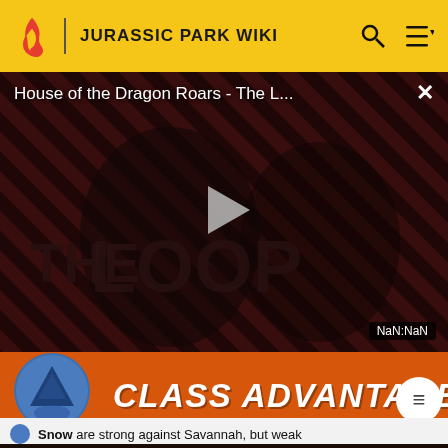JURASSIC PARK WIKI
[Figure (screenshot): Video player showing 'House of the Dragon Roars - The L...' with play button overlay, red/dark diagonal striped background, timestamp NaN:NaN, and close button X]
[Figure (infographic): Advertisement banner for Jurassic World: The Game - CLASS ADVANTAGE, orange background with game logo on left]
Cenozoic Type Chart
Snow are strong against Savannah, but weak...